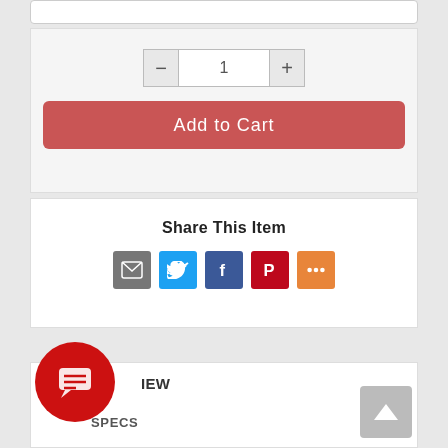[Figure (screenshot): Quantity selector with minus button, input field showing 1, and plus button]
Add to Cart
Share This Item
[Figure (infographic): Social sharing icons: Email (grey), Twitter (blue), Facebook (dark blue), Pinterest (red), More (orange)]
REVIEW
SPECS
[Figure (illustration): Red circular chat bubble icon with message lines]
[Figure (illustration): Grey back-to-top button with upward arrow]